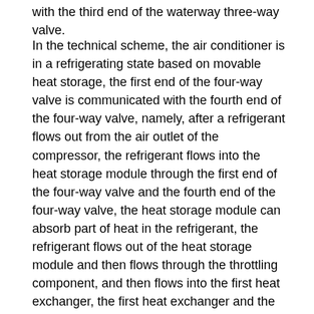with the third end of the waterway three-way valve.
In the technical scheme, the air conditioner is in a refrigerating state based on movable heat storage, the first end of the four-way valve is communicated with the fourth end of the four-way valve, namely, after a refrigerant flows out from the air outlet of the compressor, the refrigerant flows into the heat storage module through the first end of the four-way valve and the fourth end of the four-way valve, the heat storage module can absorb part of heat in the refrigerant, the refrigerant flows out of the heat storage module and then flows through the throttling component, and then flows into the first heat exchanger, the first heat exchanger and the first fan assembly work in a matched mode to play a refrigerating role, the refrigerant flows out of the first heat exchanger and then flows through the second end of the four-way valve and the third end of the four-way. Furthermore, the heat in the heat storage module can heat the water in the first water pipe to form hot water, so that the movable heat storage air conditioner can also play a role of heating water while refrigerating, thereby reducing the heat loss of the movable heat storage air conditioner in a refrigerating state, specifically, the first end